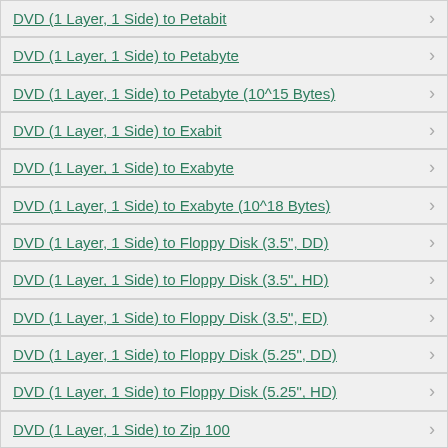DVD (1 Layer, 1 Side) to Petabit
DVD (1 Layer, 1 Side) to Petabyte
DVD (1 Layer, 1 Side) to Petabyte (10^15 Bytes)
DVD (1 Layer, 1 Side) to Exabit
DVD (1 Layer, 1 Side) to Exabyte
DVD (1 Layer, 1 Side) to Exabyte (10^18 Bytes)
DVD (1 Layer, 1 Side) to Floppy Disk (3.5", DD)
DVD (1 Layer, 1 Side) to Floppy Disk (3.5", HD)
DVD (1 Layer, 1 Side) to Floppy Disk (3.5", ED)
DVD (1 Layer, 1 Side) to Floppy Disk (5.25", DD)
DVD (1 Layer, 1 Side) to Floppy Disk (5.25", HD)
DVD (1 Layer, 1 Side) to Zip 100